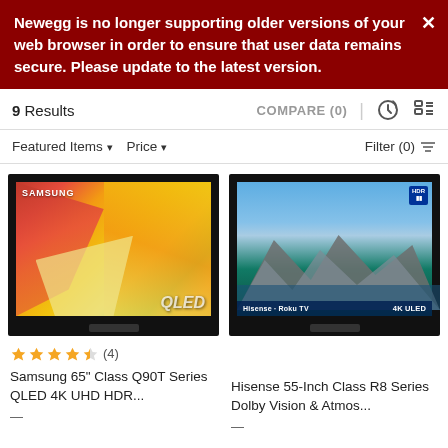Newegg is no longer supporting older versions of your web browser in order to ensure that user data remains secure. Please update to the latest version.
9 Results
COMPARE (0)
Featured Items   Price   Filter (0)
[Figure (screenshot): Samsung 65 inch QLED TV product image with colorful abstract display]
[Figure (screenshot): Hisense 55-Inch Roku TV product image showing mountain lake landscape, 4K ULED with HDR badge]
(4)
Samsung 65" Class Q90T Series QLED 4K UHD HDR...
Hisense 55-Inch Class R8 Series Dolby Vision & Atmos...